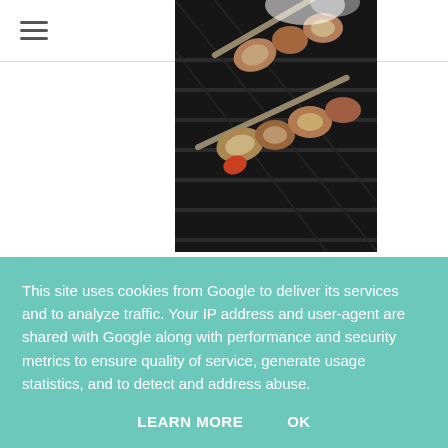[Figure (photo): BBQ shrimp and steak kebabs on a grill, skewered and partially overlapping]
BBQ Steak and Shrimp Kebabs with Maple and Mustard Glaze
[Figure (photo): Three small thumbnail images of food dishes]
This site uses cookies from Google to deliver its services and to analyze traffic. Your IP address and user-agent are shared with Google along with performance and security metrics to ensure quality of service, generate usage statistics, and to detect and address abuse.
LEARN MORE     OK